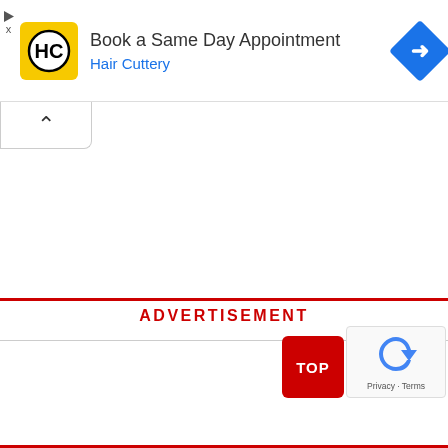[Figure (screenshot): Hair Cuttery advertisement banner with yellow logo (HC letters in circle), text 'Book a Same Day Appointment', subtitle 'Hair Cuttery' in blue, and blue diamond navigation icon on right]
[Figure (screenshot): Collapse/minimize button with upward chevron arrow]
ADVERTISEMENT
[Figure (screenshot): TOP button in red, and reCAPTCHA widget with privacy and terms links]